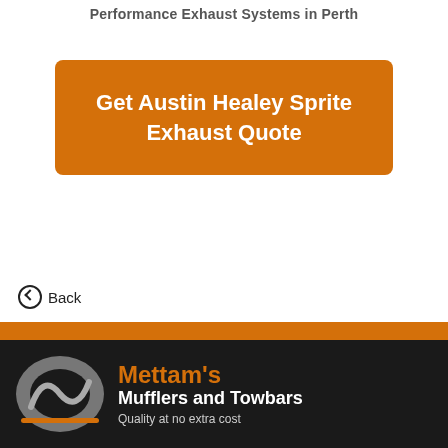Performance Exhaust Systems in Perth
Get Austin Healey Sprite Exhaust Quote
⊙ Back
[Figure (logo): Mettam's Mufflers and Towbars logo with stylized M emblem in grey and orange on black background, tagline: Quality at no extra cost]